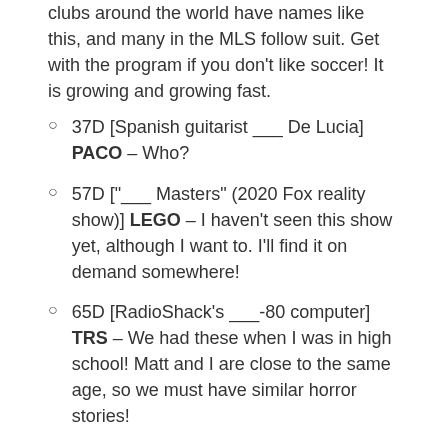clubs around the world have names like this, and many in the MLS follow suit. Get with the program if you don't like soccer! It is growing and growing fast.
37D [Spanish guitarist ___ De Lucia] PACO – Who?
57D ["___ Masters" (2020 Fox reality show)] LEGO – I haven't seen this show yet, although I want to. I'll find it on demand somewhere!
65D [RadioShack's ___-80 computer] TRS – We had these when I was in high school! Matt and I are close to the same age, so we must have similar horror stories!
That is all! Another Jonesin' next week!
Paul Coulter's LA Times crossword – Derek's write-up